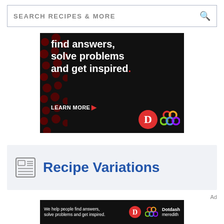SEARCH RECIPES & MORE
[Figure (photo): Dark advertisement banner with text 'find answers, solve problems and get inspired.' with 'LEARN MORE' button and Dotdash Meredith logos]
Recipe Variations
Ad
[Figure (photo): Small dark advertisement banner: 'We help people find answers, solve problems and get inspired.' with Dotdash Meredith logo]